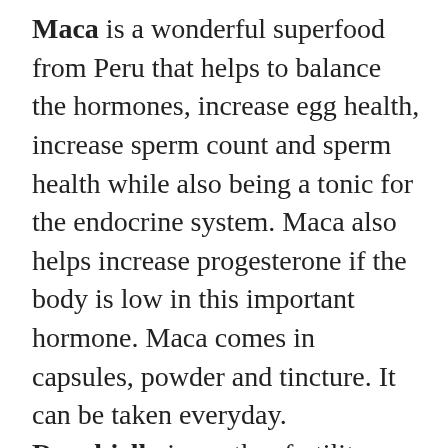Maca is a wonderful superfood from Peru that helps to balance the hormones, increase egg health, increase sperm count and sperm health while also being a tonic for the endocrine system. Maca also helps increase progesterone if the body is low in this important hormone. Maca comes in capsules, powder and tincture. It can be taken everyday. Royal jelly is another fertility specific superfood which may help increase egg health and